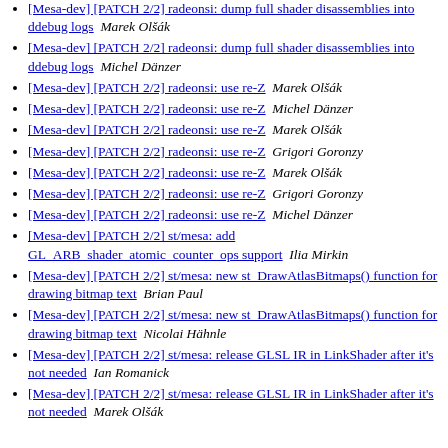[Mesa-dev] [PATCH 2/2] radeonsi: dump full shader disassemblies into ddebug logs  Marek Olšák
[Mesa-dev] [PATCH 2/2] radeonsi: dump full shader disassemblies into ddebug logs  Michel Dänzer
[Mesa-dev] [PATCH 2/2] radeonsi: use re-Z  Marek Olšák
[Mesa-dev] [PATCH 2/2] radeonsi: use re-Z  Michel Dänzer
[Mesa-dev] [PATCH 2/2] radeonsi: use re-Z  Marek Olšák
[Mesa-dev] [PATCH 2/2] radeonsi: use re-Z  Grigori Goronzy
[Mesa-dev] [PATCH 2/2] radeonsi: use re-Z  Marek Olšák
[Mesa-dev] [PATCH 2/2] radeonsi: use re-Z  Grigori Goronzy
[Mesa-dev] [PATCH 2/2] radeonsi: use re-Z  Michel Dänzer
[Mesa-dev] [PATCH 2/2] st/mesa: add GL_ARB_shader_atomic_counter_ops support  Ilia Mirkin
[Mesa-dev] [PATCH 2/2] st/mesa: new st_DrawAtlasBitmaps() function for drawing bitmap text  Brian Paul
[Mesa-dev] [PATCH 2/2] st/mesa: new st_DrawAtlasBitmaps() function for drawing bitmap text  Nicolai Hähnle
[Mesa-dev] [PATCH 2/2] st/mesa: release GLSL IR in LinkShader after it's not needed  Ian Romanick
[Mesa-dev] [PATCH 2/2] st/mesa: release GLSL IR in LinkShader after it's not needed  Marek Olšák